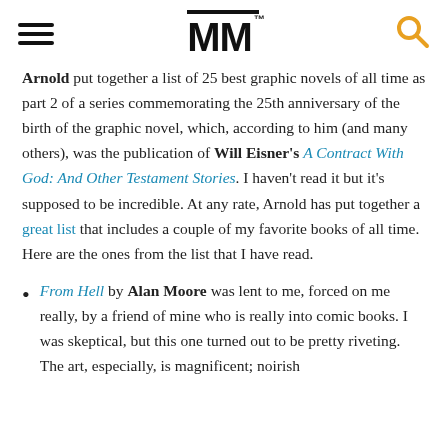MM
Arnold put together a list of 25 best graphic novels of all time as part 2 of a series commemorating the 25th anniversary of the birth of the graphic novel, which, according to him (and many others), was the publication of Will Eisner's A Contract With God: And Other Testament Stories. I haven't read it but it's supposed to be incredible. At any rate, Arnold has put together a great list that includes a couple of my favorite books of all time. Here are the ones from the list that I have read.
From Hell by Alan Moore was lent to me, forced on me really, by a friend of mine who is really into comic books. I was skeptical, but this one turned out to be pretty riveting. The art, especially, is magnificent; noirish